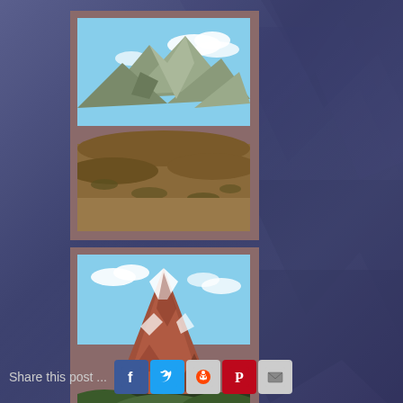[Figure (photo): Mountain landscape photo 1: brown and green mountains under blue sky with clouds, desert-like foreground terrain]
[Figure (photo): Mountain landscape photo 2: reddish-brown mountain with snow patches and green foothills under blue sky with clouds]
Share this post ...